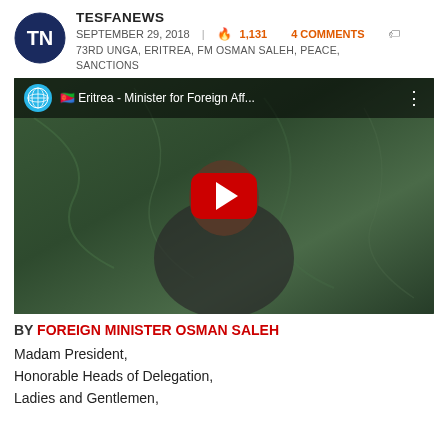TESFANEWS
SEPTEMBER 29, 2018 | 🔥 1,131   4 COMMENTS
73RD UNGA, ERITREA, FM OSMAN SALEH, PEACE, SANCTIONS
[Figure (screenshot): YouTube video thumbnail showing Eritrea Foreign Minister Osman Saleh speaking at a podium with green marble background. Title: 'Eritrea - Minister for Foreign Aff...' with UN logo circle. Red YouTube play button overlay in center.]
BY FOREIGN MINISTER OSMAN SALEH
Madam President,
Honorable Heads of Delegation,
Ladies and Gentlemen,